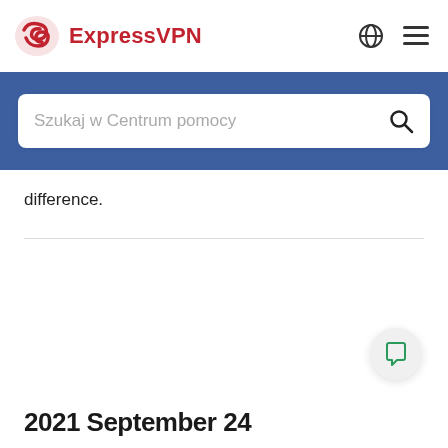ExpressVPN
[Figure (other): Search bar with placeholder text 'Szukaj w Centrum pomocy' on a blue background]
difference.
2021 September 24